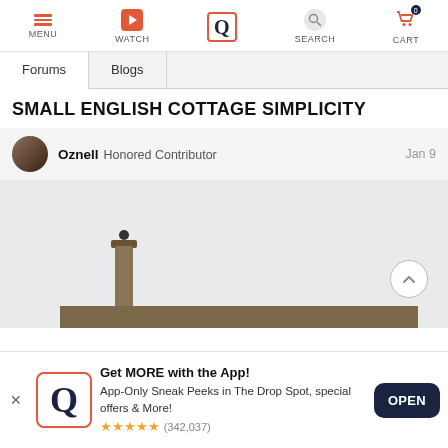MENU | WATCH | [Q Search logo - active] | SEARCH | CART
Forums | Blogs
SMALL ENGLISH COTTAGE SIMPLICITY
Oznell Honored Contributor   Jan 9
[Figure (photo): Photo of an English cottage rooftop with a chimney, photographed against a light sky background. Only the top of the chimney and the low stone wall are visible.]
Get MORE with the App! App-Only Sneak Peeks in The Drop Spot, special offers & More! ★★★★★ (342,037)